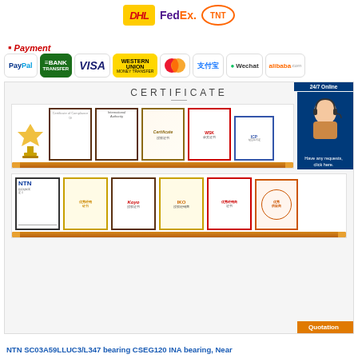[Figure (logo): Shipping carrier logos: DHL, FedEx, TNT]
Payment
[Figure (logo): Payment method logos: PayPal, Bank Transfer, VISA, Western Union, Mastercard, Alipay (支付宝), Wechat, Alibaba.com]
[Figure (photo): Certificate section showing two shelves of framed certificates and awards including NTN, Koyo, IKO certificates, with a 24/7 online customer service representative badge in top right corner. Title reads CERTIFICATE.]
NTN SC03A59LLUC3/L347 bearing CSEG120 INA bearing, Near